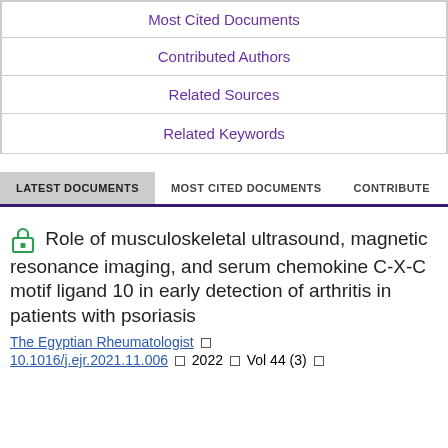| Most Cited Documents |
| Contributed Authors |
| Related Sources |
| Related Keywords |
LATEST DOCUMENTS | MOST CITED DOCUMENTS | CONTRIBUTE
Role of musculoskeletal ultrasound, magnetic resonance imaging, and serum chemokine C-X-C motif ligand 10 in early detection of arthritis in patients with psoriasis
The Egyptian Rheumatologist □ 10.1016/j.ejr.2021.11.006 □ 2022 □ Vol 44 (3) □